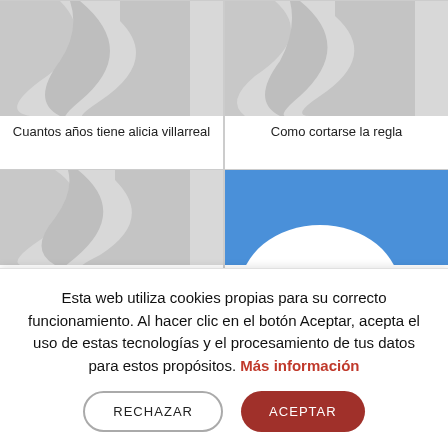[Figure (screenshot): Thumbnail placeholder image with grey diagonal swirl pattern, top-left card]
Cuantos años tiene alicia villarreal
[Figure (screenshot): Thumbnail placeholder image with grey diagonal swirl pattern, top-right card]
Como cortarse la regla
[Figure (screenshot): Thumbnail placeholder image with grey diagonal swirl pattern, bottom-left card (partially visible)]
[Figure (screenshot): Thumbnail with blue background and white arch shape, bottom-right card (partially visible)]
Esta web utiliza cookies propias para su correcto funcionamiento. Al hacer clic en el botón Aceptar, acepta el uso de estas tecnologías y el procesamiento de tus datos para estos propósitos. Más información